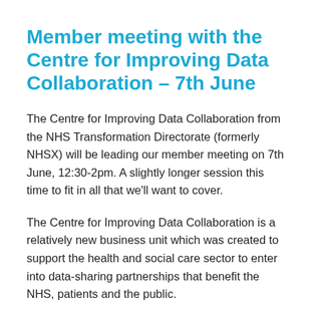Member meeting with the Centre for Improving Data Collaboration – 7th June
The Centre for Improving Data Collaboration from the NHS Transformation Directorate (formerly NHSX) will be leading our member meeting on 7th June, 12:30-2pm. A slightly longer session this time to fit in all that we'll want to cover.
The Centre for Improving Data Collaboration is a relatively new business unit which was created to support the health and social care sector to enter into data-sharing partnerships that benefit the NHS, patients and the public.